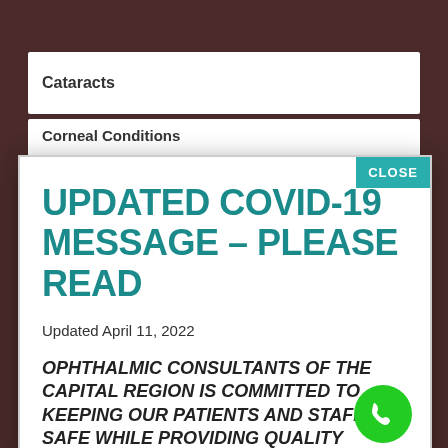Cataracts
UPDATED COVID-19 MESSAGE – PLEASE READ
Updated April 11, 2022
OPHTHALMIC CONSULTANTS OF THE CAPITAL REGION IS COMMITTED TO KEEPING OUR PATIENTS AND STAFF SAFE WHILE PROVIDING QUALITY